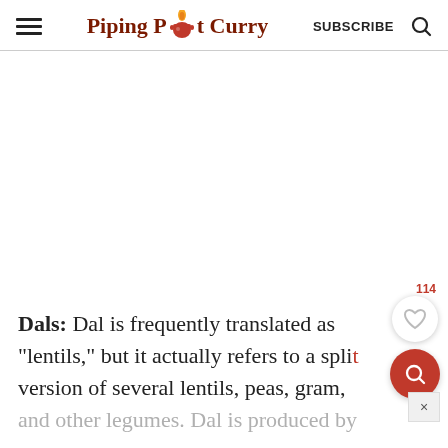Piping Pot Curry — SUBSCRIBE
[Figure (other): White advertisement area placeholder]
Dals: Dal is frequently translated as "lentils," but it actually refers to a split version of several lentils, peas, gram, and other legumes. Dal is produced by